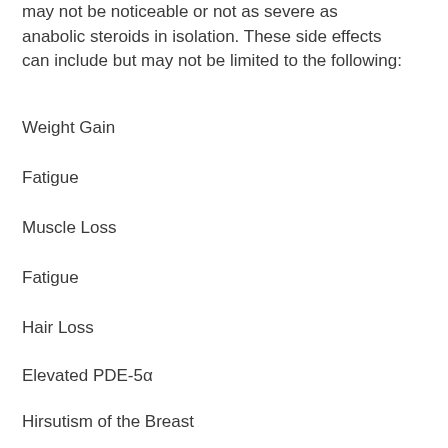may not be noticeable or not as severe as anabolic steroids in isolation. These side effects can include but may not be limited to the following:
Weight Gain
Fatigue
Muscle Loss
Fatigue
Hair Loss
Elevated PDE-5α
Hirsutism of the Breast
Skin problems
Failed Ejaculate